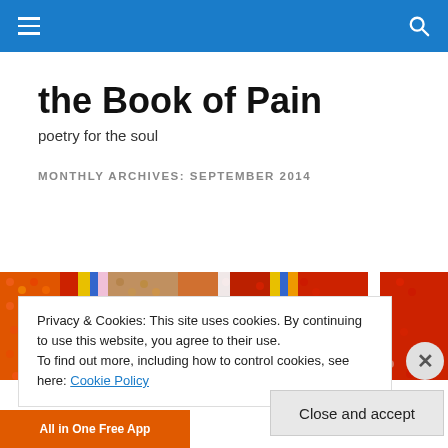the Book of Pain — navigation bar with hamburger menu and search icon
the Book of Pain
poetry for the soul
MONTHLY ARCHIVES: SEPTEMBER 2014
[Figure (photo): Close-up of colorful beaded textile/fabric with red, orange, yellow, blue, white and pink beads in horizontal stripe patterns]
Privacy & Cookies: This site uses cookies. By continuing to use this website, you agree to their use.
To find out more, including how to control cookies, see here: Cookie Policy
Close and accept
[Figure (other): Bottom advertisement bar showing 'All in One Free App' on orange background and 'DuckDuckGo' on white background]